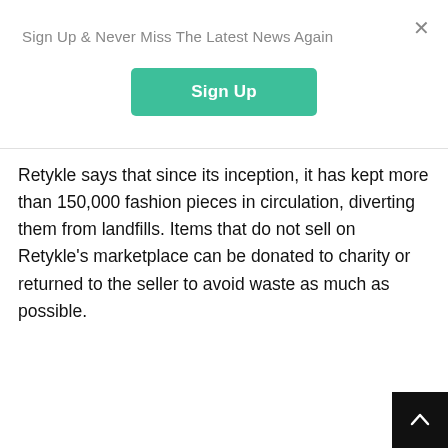Sign Up & Never Miss The Latest News Again
[Figure (other): Green 'Sign Up' button]
Retykle says that since its inception, it has kept more than 150,000 fashion pieces in circulation, diverting them from landfills. Items that do not sell on Retykle's marketplace can be donated to charity or returned to the seller to avoid waste as much as possible.
[Figure (other): Black scroll-to-top arrow button in bottom-right corner]